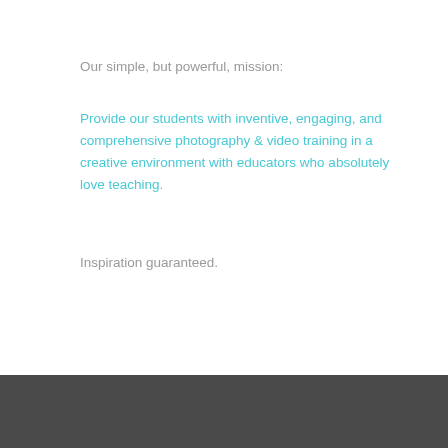Our simple, but powerful, mission:
Provide our students with inventive, engaging, and comprehensive photography & video training in a creative environment with educators who absolutely love teaching.
Inspiration guaranteed.